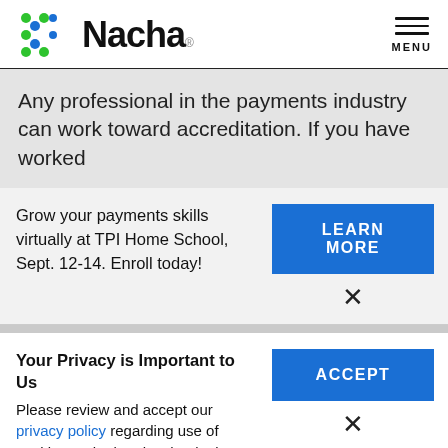[Figure (logo): Nacha logo with colorful dot grid and bold Nacha wordmark]
Any professional in the payments industry can work toward accreditation. If you have worked
Grow your payments skills virtually at TPI Home School, Sept. 12-14. Enroll today!
LEARN MORE
×
Your Privacy is Important to Us
Please review and accept our privacy policy regarding use of cookies and related technologies.
ACCEPT
×